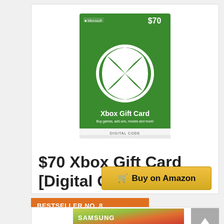[Figure (photo): Xbox Gift Card $70 Digital Code product image - green card with Xbox logo and text 'Xbox Gift Card, Buy games, add-ons, movies and more, DIGITAL CODE']
$70 Xbox Gift Card [Digital Code]
Buy on Amazon
BESTSELLER NO. 8
[Figure (photo): Samsung product image (partially visible)]